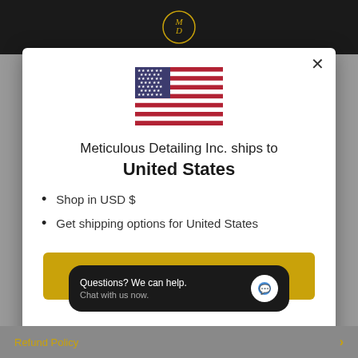[Figure (screenshot): Website modal popup for Meticulous Detailing Inc. showing US flag, shipping destination, bullet points, and shop now button]
Meticulous Detailing Inc. ships to United States
Shop in USD $
Get shipping options for United States
Shop now
Questions? We can help. Chat with us now.
Refund Policy